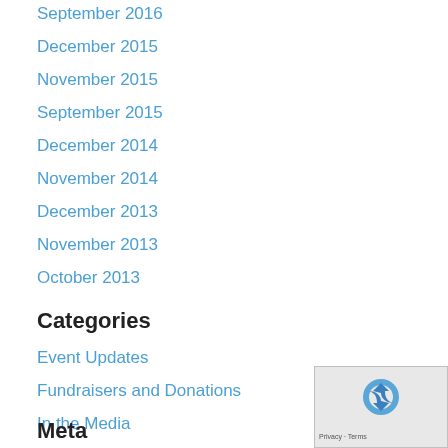September 2016
December 2015
November 2015
September 2015
December 2014
November 2014
December 2013
November 2013
October 2013
Categories
Event Updates
Fundraisers and Donations
In the Media
Meta